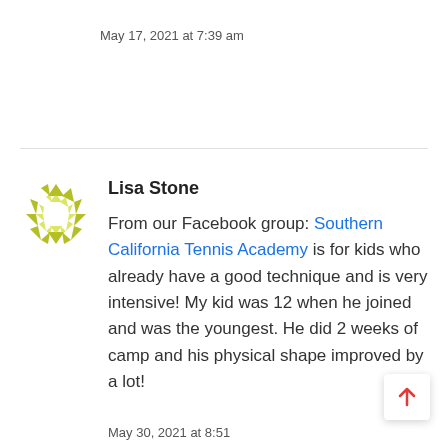May 17, 2021 at 7:39 am
Lisa Stone
From our Facebook group: Southern California Tennis Academy is for kids who already have a good technique and is very intensive! My kid was 12 when he joined and was the youngest. He did 2 weeks of camp and his physical shape improved by a lot!
May 30, 2021 at 8:51